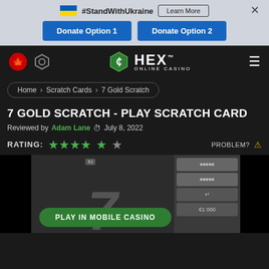#StandWithUkraine  Learn More  Donate Option 1  Donate Option 2
[Figure (logo): HEX Online Casino logo with hexagon icon, Canadian maple leaf icon, and search icon. Hamburger menu on the right.]
Home › Scratch Cards › 7 Gold Scratch
7 GOLD SCRATCH - PLAY SCRATCH CARD
Reviewed by Adam Lane  July 8, 2022
RATING: ★★★★½   PROBLEM? ⚠
[Figure (screenshot): 7 Gold Scratch card game screenshot showing a large '7' numeral, C2 badge, scratch tiles on the right side with partial amounts visible including €1 000, and a green PLAY IN MOBILE CASINO button at the bottom.]